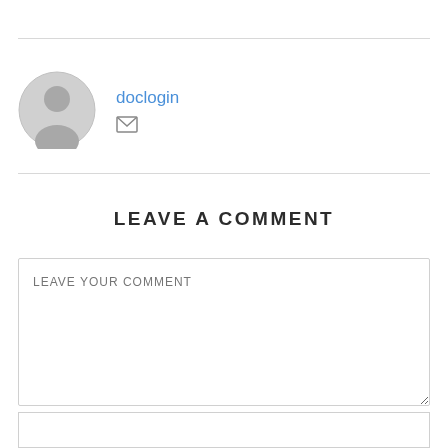[Figure (illustration): User avatar circle with generic person silhouette in gray]
doclogin
[Figure (other): Mail/envelope icon in gray]
LEAVE A COMMENT
LEAVE YOUR COMMENT